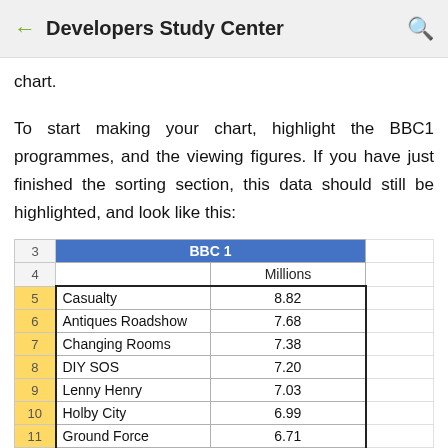← Developers Study Center 🔍
chart.
To start making your chart, highlight the BBC1 programmes, and the viewing figures. If you have just finished the sorting section, this data should still be highlighted, and look like this:
|  | BBC 1 |  |
| --- | --- | --- |
|  |  | Millions |
| 5 | Casualty | 8.82 |
| 6 | Antiques Roadshow | 7.68 |
| 7 | Changing Rooms | 7.38 |
| 8 | DIY SOS | 7.20 |
| 9 | Lenny Henry | 7.03 |
| 10 | Holby City | 6.99 |
| 11 | Ground Force | 6.71 |
| 12 | Vicar of Dibley | 6.34 |